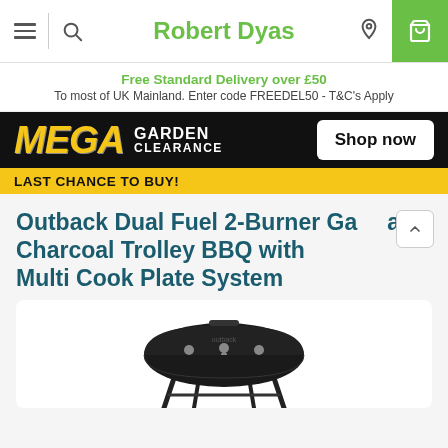Robert Dyas
Free Standard Delivery over £50
To most of UK Mainland. Enter code FREEDEL50 - T&C's Apply
[Figure (infographic): MEGA GARDEN CLEARANCE - LAST CHANCE TO BUY! promotional banner with Shop now button on yellow/black background]
Outback Dual Fuel 2-Burner Gas and Charcoal Trolley BBQ with Multi Cook Plate System
[Figure (photo): Product photo of Outback Dual Fuel 2-Burner Gas and Charcoal Trolley BBQ, black barrel-style barbecue on trolley stand]